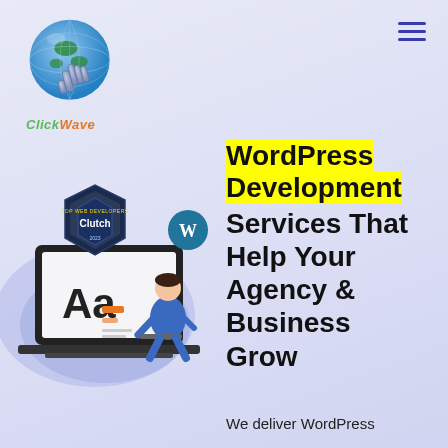[Figure (logo): ClickWave logo with globe and hand icon, green and orange text]
[Figure (illustration): Web design illustration showing a laptop with Aa typography and a person working, with a Clutch web excellence badge overlay and WordPress logo, on a blue blob background]
WordPress Development Services That Help Your Agency & Business Grow
We deliver WordPress